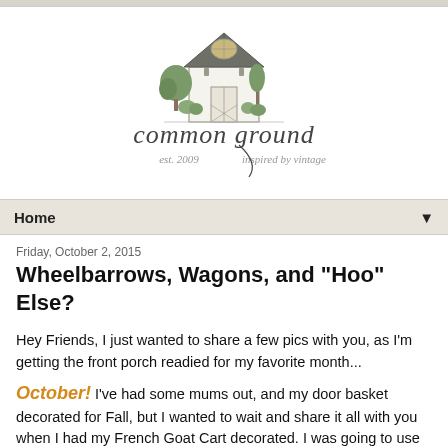[Figure (logo): Common Ground blog logo: illustrated white farmhouse/barn with trees and plants, cursive text 'common ground', subtitle 'est. 2009  inspired by vintage']
Home ▼
Friday, October 2, 2015
Wheelbarrows, Wagons, and "Hoo" Else?
Hey Friends, I just wanted to share a few pics with you, as I'm getting the front porch readied for my favorite month...
October! I've had some mums out, and my door basket decorated for Fall, but I wanted to wait and share it all with you when I had my French Goat Cart decorated. I was going to use real